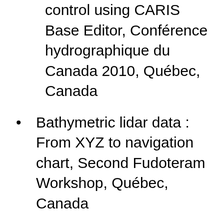control using CARIS Base Editor, Conférence hydrographique du Canada 2010, Québec, Canada
Bathymetric lidar data : From XYZ to navigation chart, Second Fudoteram Workshop, Québec, Canada
Seaway High Definition bathymetry project, 2009 Mariner's Workshop, Montréal, Canada
Live chart compilation and quality control using CARIS Base Editor, Caris 2008 Conference, Bath, United